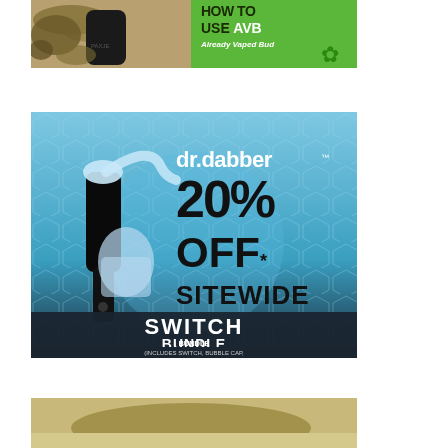[Figure (photo): Photo of a vaporizer/grinder with herb material spilling out]
[Figure (photo): Green banner with text 'HOW TO USE AVB Already Vaped Bud' with cannabis leaf icon]
[Figure (photo): Dr.Dabber advertisement showing 20% OFF* SITEWIDE SWITCH BUNDLE (Includes Switch, Bubble Cap, Ball Attachment, & HoneyMat) with product image on blue honeycomb background]
[Figure (photo): Partial photo of herb/cannabis material against a light background]